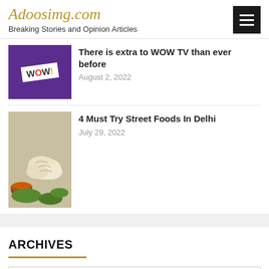Adoosimg.com — Breaking Stories and Opinion Articles
There is extra to WOW TV than ever before — August 2, 2022
4 Must Try Street Foods In Delhi — July 29, 2022
ARCHIVES
Select Month